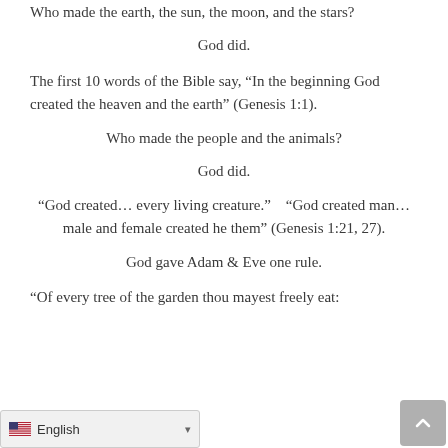Who made the earth, the sun, the moon, and the stars?
God did.
The first 10 words of the Bible say, “In the beginning God created the heaven and the earth” (Genesis 1:1).
Who made the people and the animals?
God did.
“God created… every living creature.”  “God created man… male and female created he them” (Genesis 1:21, 27).
God gave Adam & Eve one rule.
“Of every tree of the garden thou mayest freely eat: